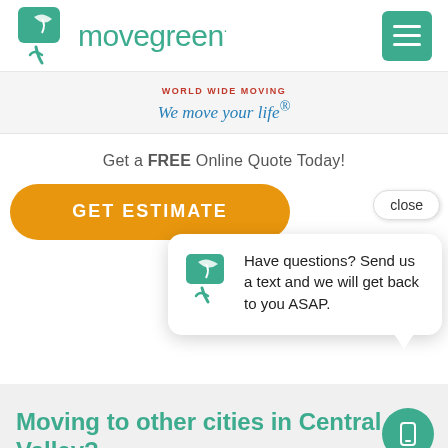[Figure (logo): Movegreen logo with green box/leaf icon and green text 'movegreen' with registered trademark symbol]
[Figure (screenshot): Green hamburger menu button (three white lines on green background)]
WORLD WIDE MOVING
We move your life®
Get a FREE Online Quote Today!
[Figure (screenshot): Orange rounded button with text GET ESTIMATE and a 'close' button overlay]
Have questions? Send us a text and we will get back to you ASAP.
Moving to other cities in Central Valley?